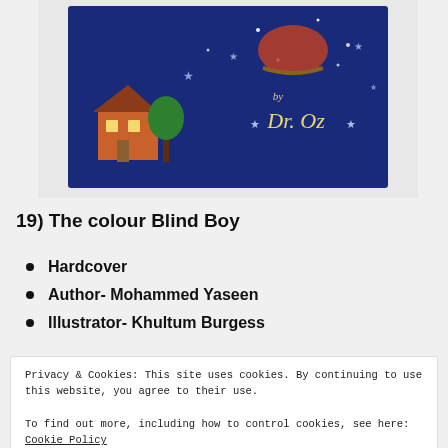[Figure (photo): Book cover photo showing a children's book with a dark blue night sky background, featuring a character on a sleigh and a house with a tree, text 'by Dr. Oz' visible on the cover]
19) The colour Blind Boy
Hardcover
Author- Mohammed Yaseen
Illustrator- Khultum Burgess
Privacy & Cookies: This site uses cookies. By continuing to use this website, you agree to their use.
To find out more, including how to control cookies, see here: Cookie Policy
Close and accept